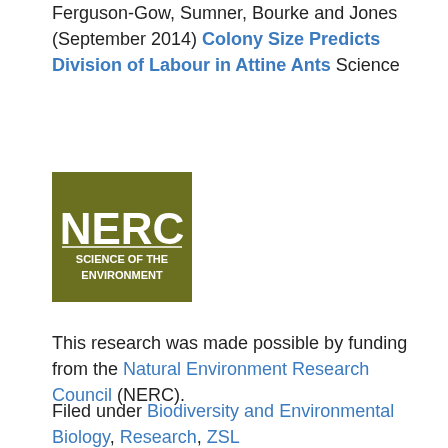Ferguson-Gow, Sumner, Bourke and Jones (September 2014) Colony Size Predicts Division of Labour in Attine Ants Science
[Figure (logo): NERC Science of the Environment logo — dark olive/khaki green background with white bold text 'NERC' large and 'SCIENCE OF THE ENVIRONMENT' smaller below]
This research was made possible by funding from the Natural Environment Research Council (NERC).
Filed under Biodiversity and Environmental Biology, Research, ZSL
Tags: Ant, Cooperation, Division of Labour, Eusocial, Evolution, Social
No Comments »